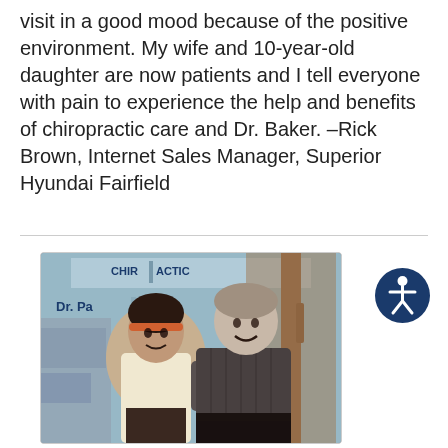visit in a good mood because of the positive environment. My wife and 10-year-old daughter are now patients and I tell everyone with pain to experience the help and benefits of chiropractic care and Dr. Baker. –Rick Brown, Internet Sales Manager, Superior Hyundai Fairfield
[Figure (photo): Two people standing together in front of a chiropractic office window with text reading 'CHIROPRACTIC' and 'Dr. Baker'. A woman on the left wearing a cream top and a man on the right wearing a dark striped shirt.]
[Figure (illustration): Accessibility icon button — circular dark blue button with a white stick figure person symbol (universal accessibility icon)]